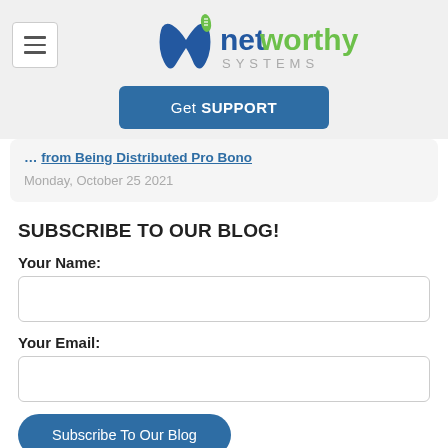[Figure (logo): Networthy Systems logo with stylized 'nw' icon in green and blue, with 'networthy SYSTEMS' text]
Get SUPPORT
from Being Distributed Pro Bono
Monday, October 25 2021
SUBSCRIBE TO OUR BLOG!
Your Name:
Your Email:
Subscribe To Our Blog